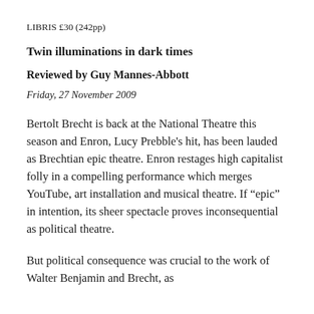LIBRIS £30 (242pp)
Twin illuminations in dark times
Reviewed by Guy Mannes-Abbott
Friday, 27 November 2009
Bertolt Brecht is back at the National Theatre this season and Enron, Lucy Prebble's hit, has been lauded as Brechtian epic theatre. Enron restages high capitalist folly in a compelling performance which merges YouTube, art installation and musical theatre. If “epic” in intention, its sheer spectacle proves inconsequential as political theatre.
But political consequence was crucial to the work of Walter Benjamin and Brecht, as